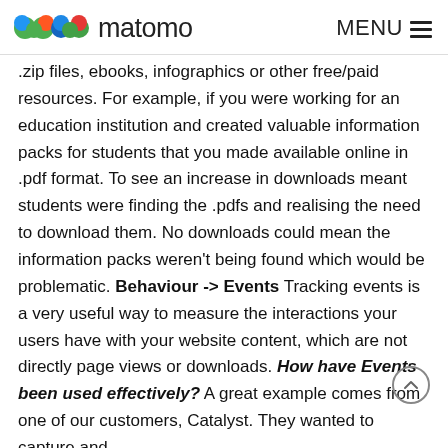matomo   MENU
.zip files, ebooks, infographics or other free/paid resources. For example, if you were working for an education institution and created valuable information packs for students that you made available online in .pdf format. To see an increase in downloads meant students were finding the .pdfs and realising the need to download them. No downloads could mean the information packs weren't being found which would be problematic. Behaviour -> Events Tracking events is a very useful way to measure the interactions your users have with your website content, which are not directly page views or downloads. How have Events been used effectively? A great example comes from one of our customers, Catalyst. They wanted to capture and